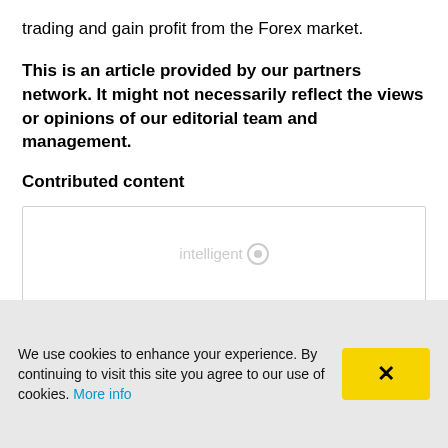trading and gain profit from the Forex market.
This is an article provided by our partners network. It might not necessarily reflect the views or opinions of our editorial team and management.
Contributed content
[Figure (logo): White box with light gray border containing an 'intelligent' watermark logo in light gray text with a circular icon]
We use cookies to enhance your experience. By continuing to visit this site you agree to our use of cookies. More info